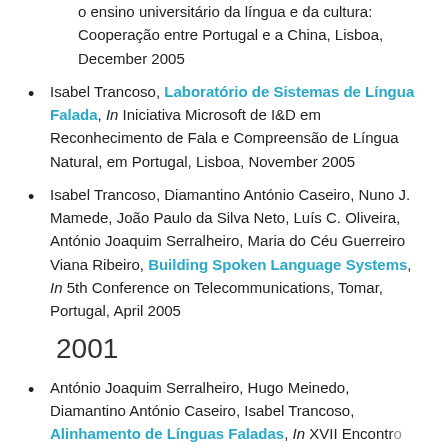o ensino universitário da língua e da cultura: Cooperação entre Portugal e a China, Lisboa, December 2005
Isabel Trancoso, Laboratório de Sistemas de Língua Falada, In Iniciativa Microsoft de I&D em Reconhecimento de Fala e Compreensão de Língua Natural, em Portugal, Lisboa, November 2005
Isabel Trancoso, Diamantino António Caseiro, Nuno J. Mamede, João Paulo da Silva Neto, Luís C. Oliveira, António Joaquim Serralheiro, Maria do Céu Guerreiro Viana Ribeiro, Building Spoken Language Systems, In 5th Conference on Telecommunications, Tomar, Portugal, April 2005
2001
António Joaquim Serralheiro, Hugo Meinedo, Diamantino António Caseiro, Isabel Trancoso, Alinhamento de Línguas Faladas, In XVII Encontro...